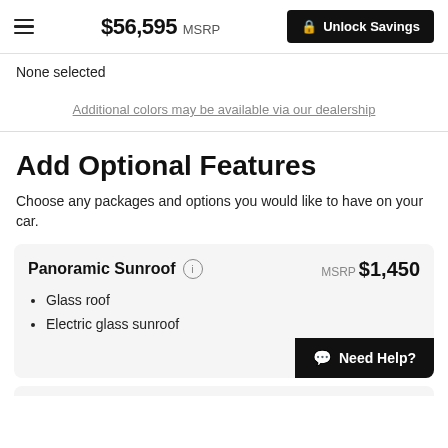$56,595 MSRP | Unlock Savings
None selected
Additional colors may be available via our dealership
Add Optional Features
Choose any packages and options you would like to have on your car.
Panoramic Sunroof  MSRP $1,450
• Glass roof
• Electric glass sunroof